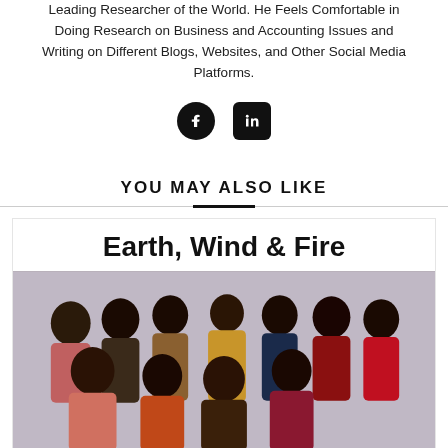Leading Researcher of the World. He Feels Comfortable in Doing Research on Business and Accounting Issues and Writing on Different Blogs, Websites, and Other Social Media Platforms.
[Figure (other): Social media icons: Facebook (circle) and LinkedIn (square)]
YOU MAY ALSO LIKE
[Figure (photo): Photo of Earth, Wind & Fire band members posing together in colorful outfits with afro hairstyles]
Earth, Wind & Fire